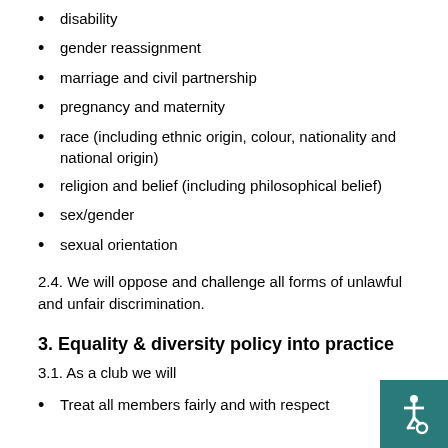disability
gender reassignment
marriage and civil partnership
pregnancy and maternity
race (including ethnic origin, colour, nationality and national origin)
religion and belief (including philosophical belief)
sex/gender
sexual orientation
2.4. We will oppose and challenge all forms of unlawful and unfair discrimination.
3. Equality & diversity policy into practice
3.1. As a club we will
Treat all members fairly and with respect